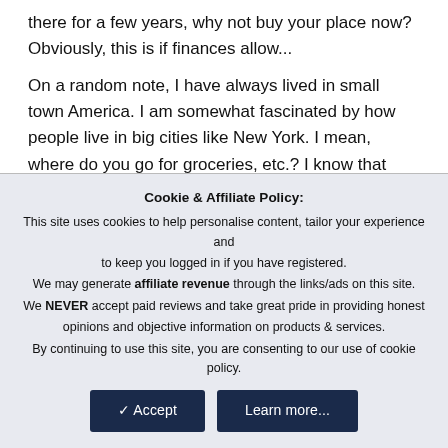there for a few years, why not buy your place now? Obviously, this is if finances allow...

On a random note, I have always lived in small town America. I am somewhat fascinated by how people live in big cities like New York. I mean, where do you go for groceries, etc.? I know that sounds silly. Also, not having a car would be something to get used to, I"m assuming. I think it"s such a wonderful thing to do if you"re so inclined. My boyfriend would love to live in a big city someday, but I"d need some prodding. 🙂
Cookie & Affiliate Policy:
This site uses cookies to help personalise content, tailor your experience and to keep you logged in if you have registered.
We may generate affiliate revenue through the links/ads on this site.
We NEVER accept paid reviews and take great pride in providing honest opinions and objective information on products & services.
By continuing to use this site, you are consenting to our use of cookie policy.